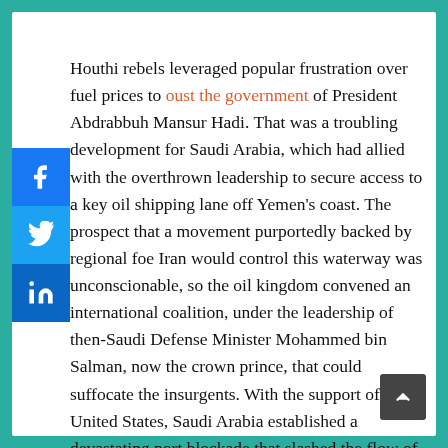Houthi rebels leveraged popular frustration over fuel prices to oust the government of President Abdrabbuh Mansur Hadi. That was a troubling development for Saudi Arabia, which had allied with the overthrown leadership to secure access to a key oil shipping lane off Yemen's coast. The prospect that a movement purportedly backed by regional foe Iran would control this waterway was unconscionable, so the oil kingdom convened an international coalition, under the leadership of then-Saudi Defense Minister Mohammed bin Salman, now the crown prince, that could suffocate the insurgents. With the support of the United States, Saudi Arabia established a devastating port blockade that slashed the flow of commercial and humanitarian goods into Yemen and littered the country with bombs